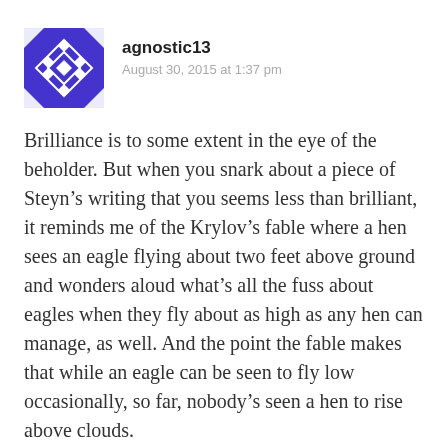[Figure (illustration): Blue geometric/diamond pattern avatar icon for user agnostic13]
agnostic13
August 30, 2015 at 1:37 pm
Brilliance is to some extent in the eye of the beholder. But when you snark about a piece of Steyn’s writing that you seems less than brilliant, it reminds me of the Krylov’s fable where a hen sees an eagle flying about two feet above ground and wonders aloud what’s all the fuss about eagles when they fly about as high as any hen can manage, as well. And the point the fable makes that while an eagle can be seen to fly low occasionally, so far, nobody’s seen a hen to rise above clouds.
As for the pansy and such stuff, to adult readers who experienced a touch of